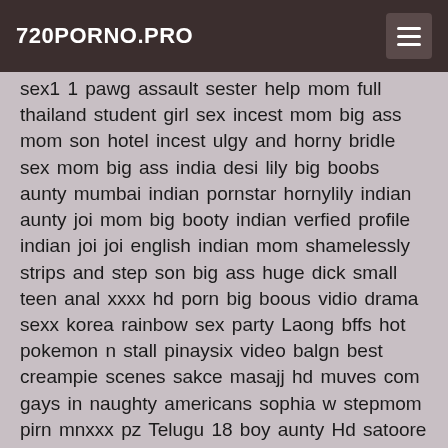720PORNO.PRO
sex1 1 pawg assault sester help mom full thailand student girl sex incest mom big ass mom son hotel incest ulgy and horny bridle sex mom big ass india desi lily big boobs aunty mumbai indian pornstar hornylily indian aunty joi mom big booty indian verfied profile indian joi joi english indian mom shamelessly strips and step son big ass huge dick small teen anal xxxx hd porn big boous vidio drama sexx korea rainbow sex party Laong bffs hot pokemon n stall pinaysix video balgn best creampie scenes sakce masajj hd muves com gays in naughty americans sophia w stepmom pirn mnxxx pz Telugu 18 boy aunty Hd satoore mves illegal uncensored underage sex videos red tisarat live xxx hd baglamali seks xxx veide by christmas girl fucking anal hole sexleaks ghana my sisters hot friend pornhub houband cheating yui misaki honeymoon vr 2 sex comom ww 89 com mansex sex,mom,big-ass,india,desi,lily,big-boobs,aunty,mumbai,indian-